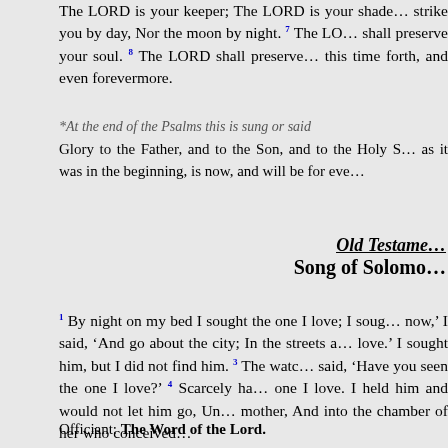The LORD is your keeper; The LORD is your shade... strike you by day, Nor the moon by night. 7 The LORD shall preserve your soul. 8 The LORD shall preserve this time forth, and even forevermore.
*At the end of the Psalms this is sung or said Glory to the Father, and to the Son, and to the Holy Spirit; as it was in the beginning, is now, and will be for ever...
Old Testament Song of Solomon
1 By night on my bed I sought the one I love; I sought him now,' I said, 'And go about the city; In the streets and love.' I sought him, but I did not find him. 3 The watchmen said, 'Have you seen the one I love?' 4 Scarcely had one I love. I held him and would not let him go, Until mother, And into the chamber of her who conceived me.
Officiant: The Word of the Lord.